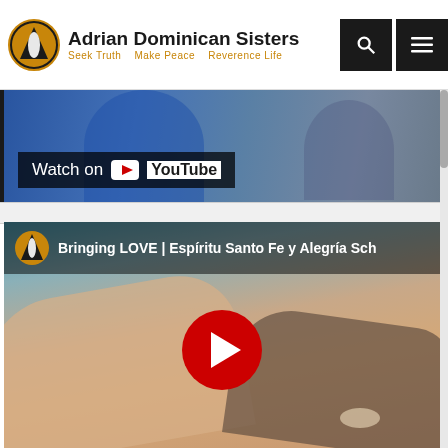Adrian Dominican Sisters — Seek Truth   Make Peace   Reverence Life
[Figure (screenshot): YouTube video thumbnail showing people at a panel discussion with 'Watch on YouTube' overlay badge]
[Figure (screenshot): YouTube video embed showing 'Bringing LOVE | Espíritu Santo Fe y Alegría Sch' with a red play button centered over an image of hands being held together]